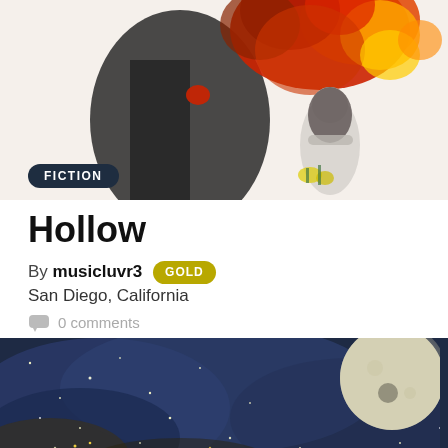[Figure (illustration): Illustrated artwork showing a dark figure with fiery red and orange flames/leaves at the top, and a girl with long hair sitting below, along with floral elements. Black and white pencil drawing style with color accents.]
FICTION
Hollow
By musicluvr3 GOLD
San Diego, California
0 comments
[Figure (illustration): Painting of a night sky with stars and a large moon visible on the upper right, deep blue and dark tones with golden star specks.]
CATEGORIES